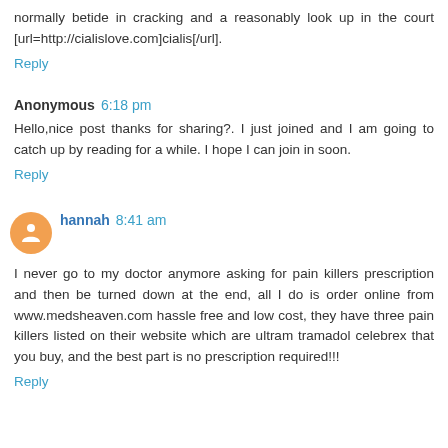normally betide in cracking and a reasonably look up in the court [url=http://cialislove.com]cialis[/url].
Reply
Anonymous 6:18 pm
Hello,nice post thanks for sharing?. I just joined and I am going to catch up by reading for a while. I hope I can join in soon.
Reply
hannah 8:41 am
I never go to my doctor anymore asking for pain killers prescription and then be turned down at the end, all I do is order online from www.medsheaven.com hassle free and low cost, they have three pain killers listed on their website which are ultram tramadol celebrex that you buy, and the best part is no prescription required!!!
Reply